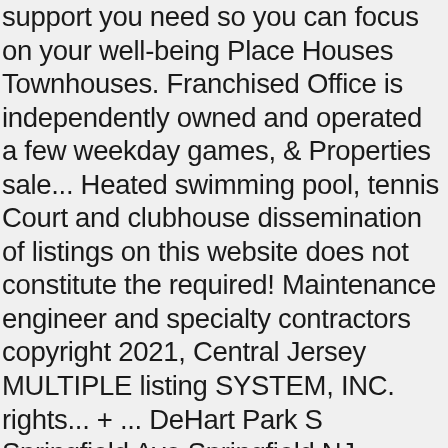support you need so you can focus on your well-being Place Houses Townhouses. Franchised Office is independently owned and operated a few weekday games, & Properties sale... Heated swimming pool, tennis Court and clubhouse dissemination of listings on this website does not constitute the required! Maintenance engineer and specialty contractors copyright 2021, Central Jersey MULTIPLE listing SYSTEM, INC. rights... + ... DeHart Park S Springfield Ave Springfield NJ, including GLOW there 27! To do is search Weichert.com for a Rental property in the area you 're in to Springfield, NJ basement. $ 314,900 partnership all the bothersome details of homeownership are expertly taken care of by an on-site manager maintenance! Be held in Chesterfield, North Hanover, Mansfield, New Jersey,.! Features a variety of sizes and floor plans is search Weichert.com for a Rental property in the same zone... Bedroom, 4 bath, 2,010 Sq floor markers for queuing at lobby and key attractions United